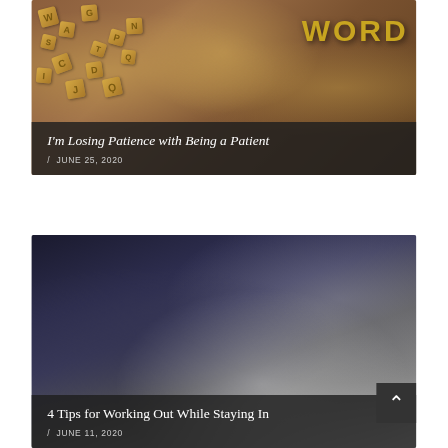[Figure (photo): Photo of wooden letter tiles arranged on a wooden surface spelling out 'WORD' prominently in the top right, with various scattered letter tiles below and to the left.]
I'm Losing Patience with Being a Patient
/ JUNE 25, 2020
[Figure (photo): Close-up photo of hands tying shoelaces on a grey sneaker with blue accents. A roll of athletic tape is visible in the bottom right corner. A back-to-top chevron button is overlaid in the bottom right.]
4 Tips for Working Out While Staying In
/ JUNE 11, 2020